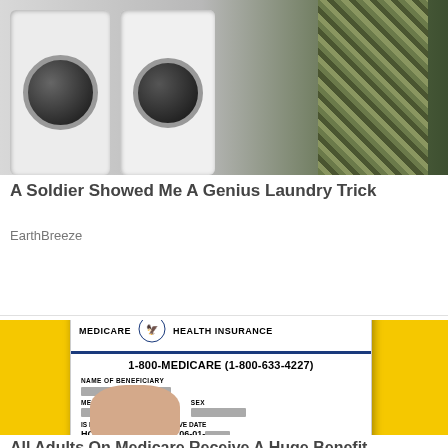[Figure (photo): Photo of washing machines in a laundromat with a soldier in camouflage uniform standing to the right]
A Soldier Showed Me A Genius Laundry Trick
EarthBreeze
[Figure (photo): Photo of a hand holding a Medicare Health Insurance card against a yellow background. Card shows 1-800-MEDICARE (1-800-633-4227), redacted name of beneficiary, redacted Medicare claim number, and entitlement to Hospital (Part A) and Medical (Part B) effective 06-01.]
All Adults On Medicare Receive A Huge Benefit